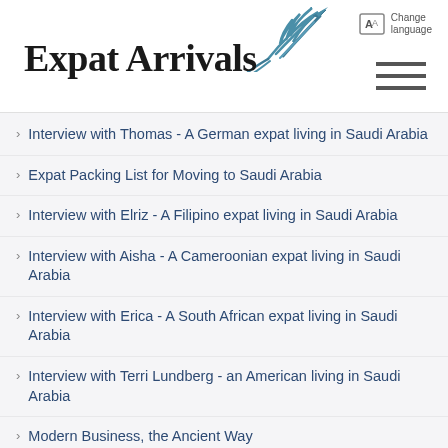Expat Arrivals
Interview with Thomas - A German expat living in Saudi Arabia
Expat Packing List for Moving to Saudi Arabia
Interview with Elriz - A Filipino expat living in Saudi Arabia
Interview with Aisha - A Cameroonian expat living in Saudi Arabia
Interview with Erica - A South African expat living in Saudi Arabia
Interview with Terri Lundberg - an American living in Saudi Arabia
Modern Business, the Ancient Way
An interview with Brenda - a Canadian expat in Saudi Arabia